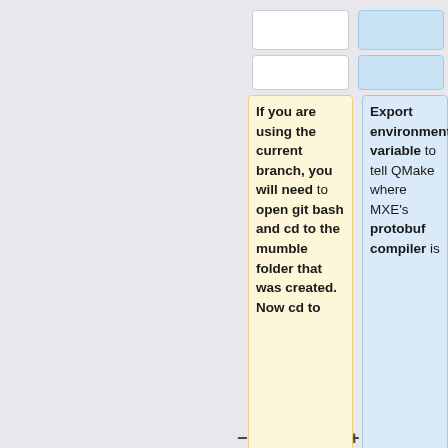If you are using the current branch, you will need to open git bash and cd to the mumble folder that was created. Now cd to
Export environment variable to tell QMake where MXE's protobuf compiler is
src/mumble11x
export MUMBLE_PROTOC=/usr/lib/mxe/usr/x86_64-pc-linux-